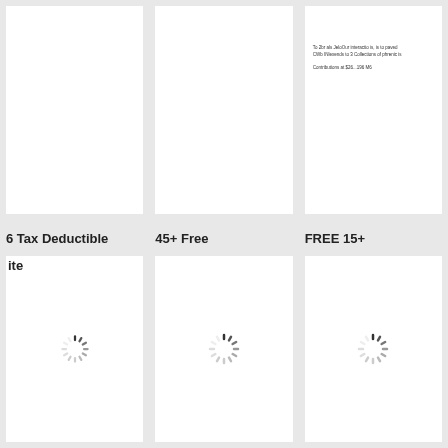[Figure (screenshot): White card, mostly empty, top row left]
[Figure (screenshot): White card, mostly empty, top row center]
[Figure (screenshot): White card with tiny text lines: partial text about submission and a link]
6 Tax Deductible
45+ Free
FREE 15+
ite
[Figure (screenshot): White card with loading spinner, bottom row left]
[Figure (screenshot): White card with loading spinner, bottom row center]
[Figure (screenshot): White card with loading spinner, bottom row right]